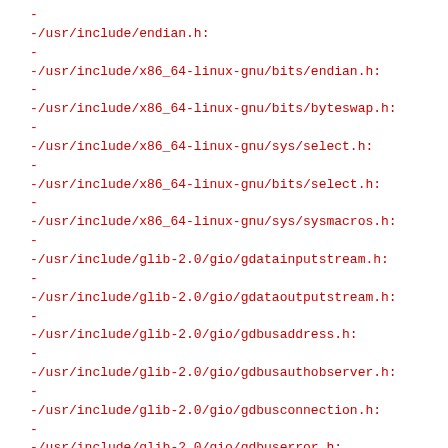-
-/usr/include/endian.h:
-
-/usr/include/x86_64-linux-gnu/bits/endian.h:
-
-/usr/include/x86_64-linux-gnu/bits/byteswap.h:
-
-/usr/include/x86_64-linux-gnu/sys/select.h:
-
-/usr/include/x86_64-linux-gnu/bits/select.h:
-
-/usr/include/x86_64-linux-gnu/sys/sysmacros.h:
-
-/usr/include/glib-2.0/gio/gdatainputstream.h:
-
-/usr/include/glib-2.0/gio/gdataoutputstream.h:
-
-/usr/include/glib-2.0/gio/gdbusaddress.h:
-
-/usr/include/glib-2.0/gio/gdbusauthobserver.h:
-
-/usr/include/glib-2.0/gio/gdbusconnection.h:
-
-/usr/include/glib-2.0/gio/gdbuserror.h:
-
-/usr/include/glib-2.0/gio/gdbiusintrospection.h:
-
-/usr/include/glib-2.0/gio/gdbusmessage.h:
-
-/usr/include/glib-2.0/gio/gdbusmethodinvocation.h: